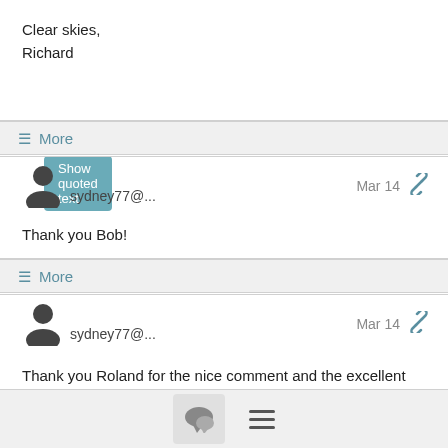Clear skies,
Richard
Show quoted text
≡ More
sydney77@...   Mar 14
Thank you Bob!
≡ More
sydney77@...   Mar 14
Thank you Roland for the nice comment and the excellent equipment!